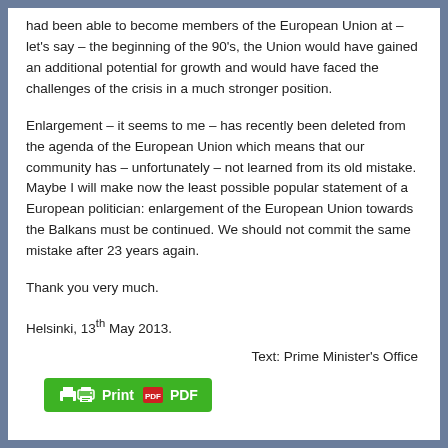had been able to become members of the European Union at – let's say – the beginning of the 90's, the Union would have gained an additional potential for growth and would have faced the challenges of the crisis in a much stronger position.
Enlargement – it seems to me – has recently been deleted from the agenda of the European Union which means that our community has – unfortunately – not learned from its old mistake. Maybe I will make now the least possible popular statement of a European politician: enlargement of the European Union towards the Balkans must be continued. We should not commit the same mistake after 23 years again.
Thank you very much.
Helsinki, 13th May 2013.
Text: Prime Minister's Office
[Figure (other): Green Print/PDF button with printer icon and PDF icon]